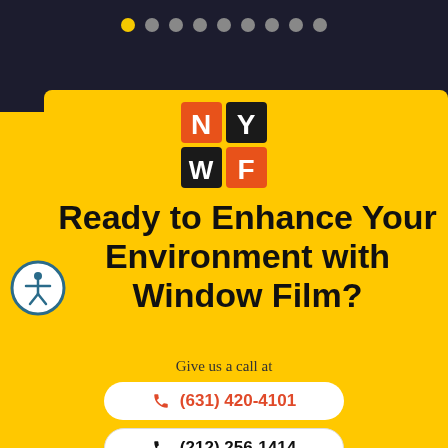[Figure (logo): NYWF logo with orange and black squares showing letters N, Y, W, F]
[Figure (illustration): Accessibility icon - person in circle with teal border]
Ready to Enhance Your Environment with Window Film?
Give us a call at
(631) 420-4101
(212) 256-1414